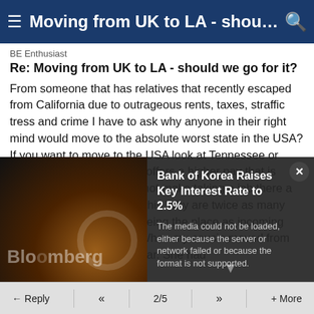Moving from UK to LA - should ...
BE Enthusiast
Re: Moving from UK to LA - should we go for it?
From someone that has relatives that recently escaped from California due to outrageous rents, taxes, straffic tress and crime I have to ask why anyone in their right mind would move to the absolute worst state in the USA? If you want to move to the USA look at Tennessee or Texas. Just because a job offers a higher pay that is located in California does not make taking a job there a good choice. Ask yourself this Why are twice as many native born Californians fleeing the place as incoming replacement population? When my cousin moved from California to Florida last year. She had
[Figure (screenshot): Bloomberg video player overlay showing error message 'The media could not be loaded, either because the server or network failed or because the format is not supported.' with headline 'Bank of Korea Raises Key Interest Rate to 2.5%']
Reply  <<  2/5  >>  + More